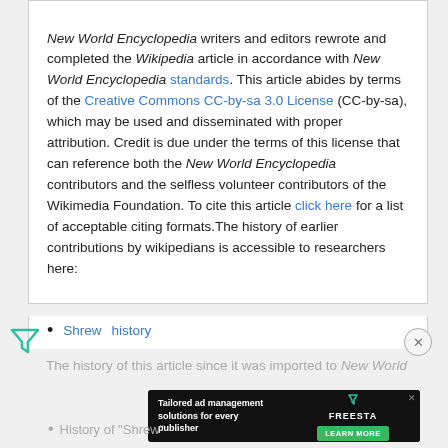New World Encyclopedia writers and editors rewrote and completed the Wikipedia article in accordance with New World Encyclopedia standards. This article abides by terms of the Creative Commons CC-by-sa 3.0 License (CC-by-sa), which may be used and disseminated with proper attribution. Credit is due under the terms of this license that can reference both the New World Encyclopedia contributors and the selfless volunteer contributors of the Wikimedia Foundation. To cite this article click here for a list of acceptable citing formats.The history of earlier contributions by wikipedians is accessible to researchers here:
Shrew  history
The history of this article since it was imported to New World...
[Figure (screenshot): Advertisement banner: Tailored ad management solutions for every publisher — FREESTA with Learn More button]
History of "Shrew"